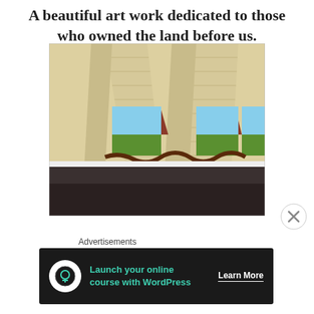A beautiful art work dedicated to those who owned the land before us.
[Figure (photo): Indoor mural on a wall showing a southwestern landscape with red rock formations, green foliage, trees, and a snake/lizard painted along the bottom. Large white architectural columns or walls cut across the view.]
[Figure (other): Close button (X in a circle) overlay element]
Advertisements
[Figure (other): Advertisement banner: Launch your online course with WordPress — Learn More]